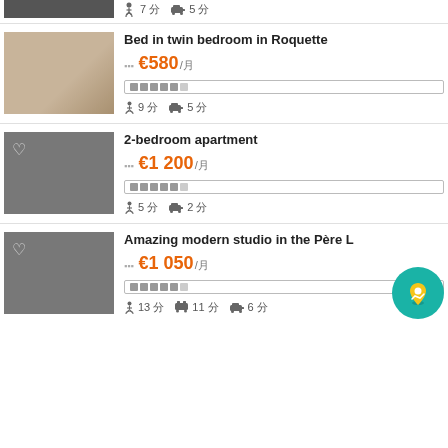Walk 7 min, Car 5 min (top strip)
Bed in twin bedroom in Roquette, €580/mo, Walk 9 min, Car 5 min
2-bedroom apartment, €1 200/mo, Walk 5 min, Car 2 min
Amazing modern studio in the Père L..., €1 050/mo, Walk 13 min, Bus 11 min, Car 6 min